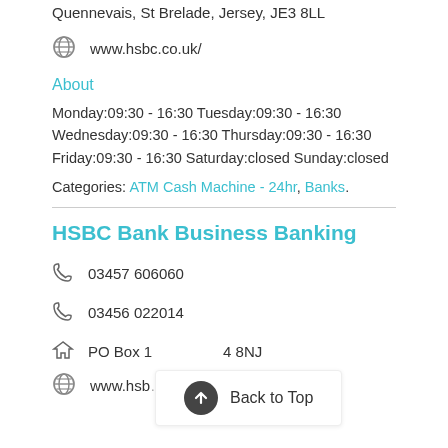Quennevais, St Brelade, Jersey, JE3 8LL
www.hsbc.co.uk/
About
Monday:09:30 - 16:30 Tuesday:09:30 - 16:30 Wednesday:09:30 - 16:30 Thursday:09:30 - 16:30 Friday:09:30 - 16:30 Saturday:closed Sunday:closed
Categories: ATM Cash Machine - 24hr, Banks.
HSBC Bank Business Banking
03457 606060
03456 022014
PO Box 1 ... 4 8NJ
www.hsbc...co.uk/